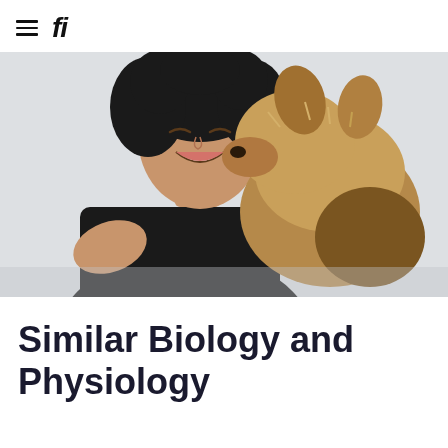≡ fi
[Figure (photo): A smiling woman with curly dark hair wearing a black t-shirt, holding a fluffy brown/tan dog that is nuzzling her cheek. The background is light grey/white.]
Similar Biology and Physiology